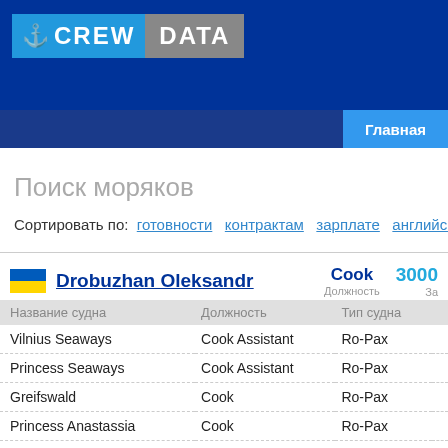[Figure (logo): CrewData logo with anchor icon, blue and grey background]
Главная
Поиск моряков
Сортировать по: готовности контрактам зарплате английскому
|  | Drobuzhan Oleksandr | Cook | 3000 |
| --- | --- | --- | --- |
| Название судна | Должность | Тип судна |  |
| Vilnius Seaways | Cook Assistant | Ro-Pax |  |
| Princess Seaways | Cook Assistant | Ro-Pax |  |
| Greifswald | Cook | Ro-Pax |  |
| Princess Anastassia | Cook | Ro-Pax |  |
| Princess Anastassia | Cook | Ro-Pax |  |